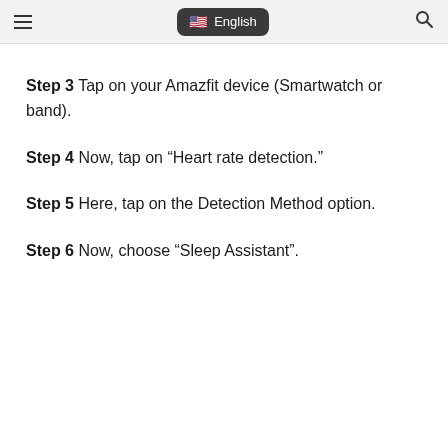English
Step 3 Tap on your Amazfit device (Smartwatch or band).
Step 4 Now, tap on “Heart rate detection.”
Step 5 Here, tap on the Detection Method option.
Step 6 Now, choose “Sleep Assistant”.